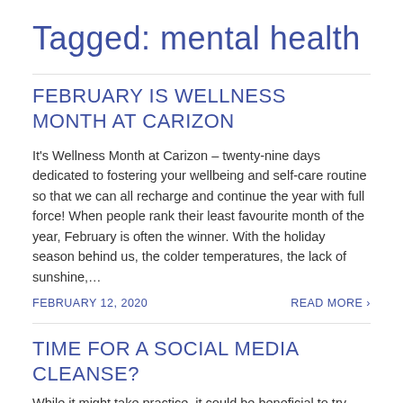Tagged: mental health
FEBRUARY IS WELLNESS MONTH AT CARIZON
It's Wellness Month at Carizon – twenty-nine days dedicated to fostering your wellbeing and self-care routine so that we can all recharge and continue the year with full force! When people rank their least favourite month of the year, February is often the winner. With the holiday season behind us, the colder temperatures, the lack of sunshine,...
FEBRUARY 12, 2020
READ MORE ›
TIME FOR A SOCIAL MEDIA CLEANSE?
While it might take practice, it could be beneficial to try